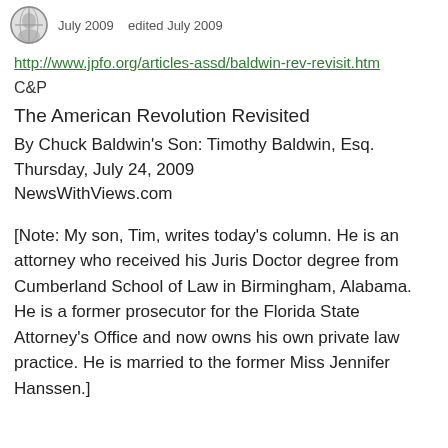July 2009   edited July 2009
http://www.jpfo.org/articles-assd/baldwin-rev-revisit.htm
C&P
The American Revolution Revisited
By Chuck Baldwin's Son: Timothy Baldwin, Esq.
Thursday, July 24, 2009
NewsWithViews.com
[Note: My son, Tim, writes today's column. He is an attorney who received his Juris Doctor degree from Cumberland School of Law in Birmingham, Alabama. He is a former prosecutor for the Florida State Attorney's Office and now owns his own private law practice. He is married to the former Miss Jennifer Hanssen.]